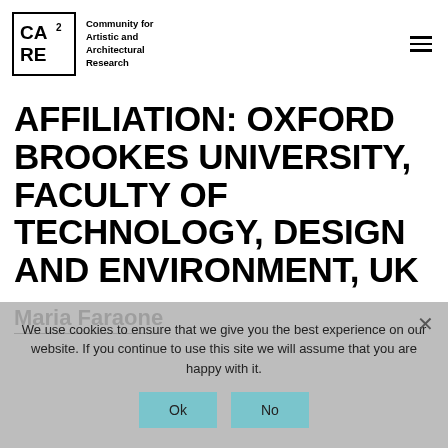[Figure (logo): CA²RE logo - a box with CA² on top line and RE on bottom line, followed by text 'Community for Artistic and Architectural Research']
AFFILIATION: OXFORD BROOKES UNIVERSITY, FACULTY OF TECHNOLOGY, DESIGN AND ENVIRONMENT, UK
Maria Faraone
We use cookies to ensure that we give you the best experience on our website. If you continue to use this site we will assume that you are happy with it.